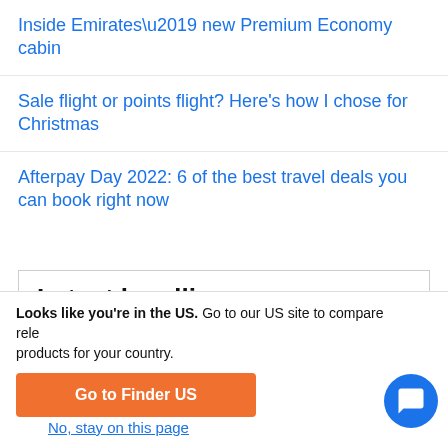Inside Emirates’ new Premium Economy cabin
Sale flight or points flight? Here’s how I chose for Christmas
Afterpay Day 2022: 6 of the best travel deals you can book right now
Latest headlines
Click Frenzy™ Julove 2022: All the best travel deals
Looks like you’re in the US. Go to our US site to compare relevant products for your country.
Go to Finder US
No, stay on this page